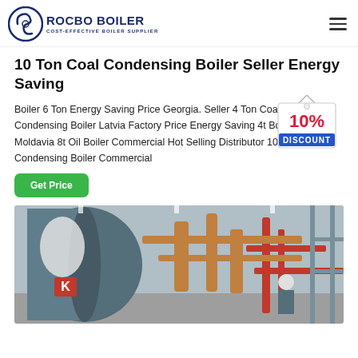[Figure (logo): Rocbo Boiler logo with circular C icon and text ROCBO BOILER / COST-EFFECTIVE BOILER SUPPLIER]
10 Ton Coal Condensing Boiler Seller Energy Saving
Boiler 6 Ton Energy Saving Price Georgia. Seller 4 Ton Coal Fired Condensing Boiler Latvia Factory Price Energy Saving 4t Boiler Machine Moldavia 8t Oil Boiler Commercial Hot Selling Distributor 10t gas fired Condensing Boiler Commercial
[Figure (infographic): 10% DISCOUNT badge in red and blue on a hanging tag shape]
[Figure (photo): Industrial boiler room with large cylindrical blue boiler, copper/orange pipes, red accent pipes, and a worker in white hard hat, with Rocbo brand markings visible]